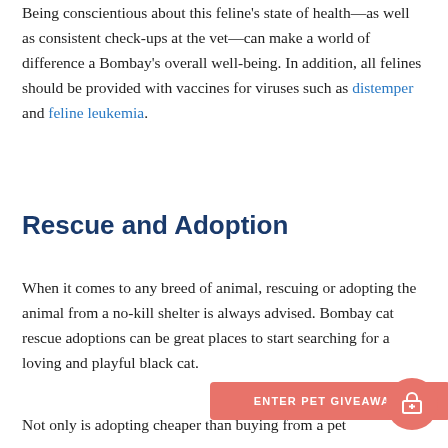Being conscientious about this feline's state of health—as well as consistent check-ups at the vet—can make a world of difference a Bombay's overall well-being. In addition, all felines should be provided with vaccines for viruses such as distemper and feline leukemia.
Rescue and Adoption
When it comes to any breed of animal, rescuing or adopting the animal from a no-kill shelter is always advised. Bombay cat rescue adoptions can be great places to start searching for a loving and playful black cat.
Not only is adopting cheaper than buying from a pet